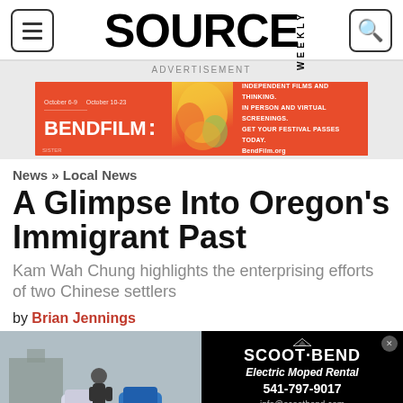SOURCE WEEKLY
ADVERTISEMENT
[Figure (illustration): BendFilm advertisement banner with orange/red background, abstract colorful art, festival dates October 6-9 and October 10-23]
News » Local News
A Glimpse Into Oregon's Immigrant Past
Kam Wah Chung highlights the enterprising efforts of two Chinese settlers
by Brian Jennings
[Figure (photo): Person standing next to electric mopeds/scooters outdoors]
[Figure (illustration): Scoot Bend advertisement - Electric Moped Rental, 541-797-9017, info@scootbend.com, scootbend.com]